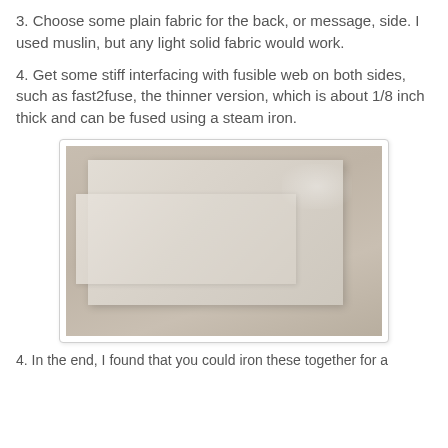3. Choose some plain fabric for the back, or message, side. I used muslin, but any light solid fabric would work.
4. Get some stiff interfacing with fusible web on both sides, such as fast2fuse, the thinner version, which is about 1/8 inch thick and can be fused using a steam iron.
[Figure (photo): A photograph showing two pieces of plain, light-colored (beige/cream) fabric or interfacing laid out on a darker surface, one piece overlapping the other.]
4. In the end, I found that you could iron these together for a